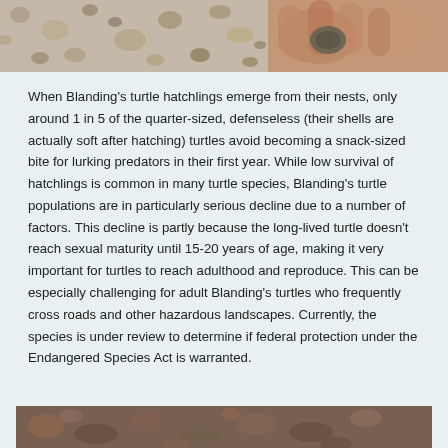[Figure (photo): Two photos side by side at top of page: left photo shows gravel/sand ground texture, right photo shows a hand holding a small Blanding's turtle hatchling]
When Blanding's turtle hatchlings emerge from their nests, only around 1 in 5 of the quarter-sized, defenseless (their shells are actually soft after hatching) turtles avoid becoming a snack-sized bite for lurking predators in their first year. While low survival of hatchlings is common in many turtle species, Blanding's turtle populations are in particularly serious decline due to a number of factors. This decline is partly because the long-lived turtle doesn't reach sexual maturity until 15-20 years of age, making it very important for turtles to reach adulthood and reproduce. This can be especially challenging for adult Blanding's turtles who frequently cross roads and other hazardous landscapes. Currently, the species is under review to determine if federal protection under the Endangered Species Act is warranted.
[Figure (photo): Photo at bottom of page showing ground with leaves and debris, likely a turtle nest or natural habitat]